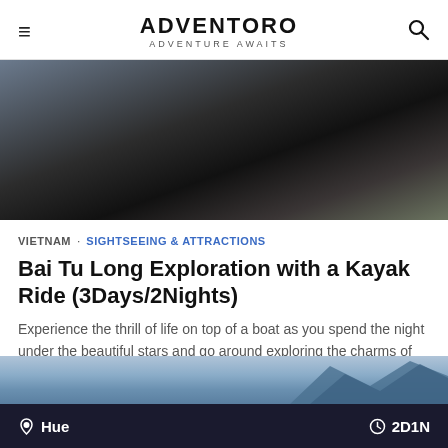ADVENTORO — ADVENTURE AWAITS
[Figure (photo): Dark scenic hero image showing Halong Bay region with dark sky and water tones]
VIETNAM · SIGHTSEEING & ATTRACTIONS
Bai Tu Long Exploration with a Kayak Ride (3Days/2Nights)
Experience the thrill of life on top of a boat as you spend the night under the beautiful stars and go around exploring the charms of Halong Bay region
USD 298 · Per Person
0 Reviews
Hue · 2D1N